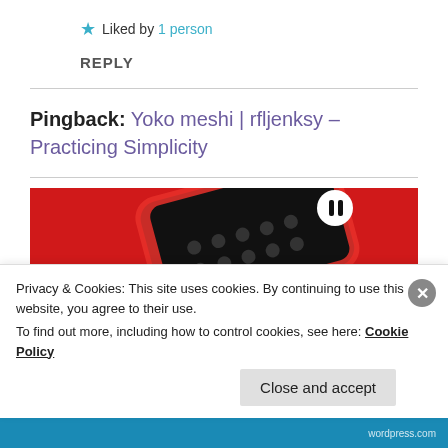★ Liked by 1 person
REPLY
Pingback: Yoko meshi | rfljenksy – Practicing Simplicity
[Figure (photo): Red background with a red smartphone/device showing a dark control panel interface]
Privacy & Cookies: This site uses cookies. By continuing to use this website, you agree to their use.
To find out more, including how to control cookies, see here: Cookie Policy
Close and accept